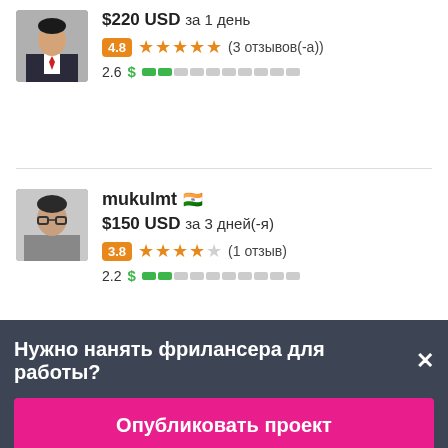$220 USD за 1 день
4.8 ★★★★★ (3 отзывов(-а))
2.6 $ (score bar)
mukulmt 🇮🇳
$150 USD за 3 дней(-я)
3.8 ★★★★☆ (1 отзыв)
2.2 $ (score bar)
Нужно нанять фрилансера для работы?
Опубликовать проект